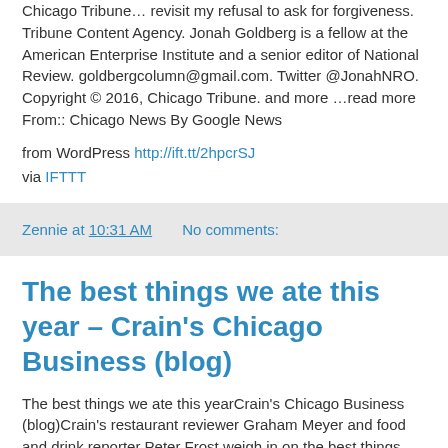Chicago Tribune… revisit my refusal to ask for forgiveness. Tribune Content Agency. Jonah Goldberg is a fellow at the American Enterprise Institute and a senior editor of National Review. goldbergcolumn@gmail.com. Twitter @JonahNRO. Copyright © 2016, Chicago Tribune. and more …read more From:: Chicago News By Google News
from WordPress http://ift.tt/2hpcrSJ
via IFTTT
Zennie at 10:31 AM    No comments:
The best things we ate this year – Crain's Chicago Business (blog)
The best things we ate this yearCrain's Chicago Business (blog)Crain's restaurant reviewer Graham Meyer and food and drink reporter Peter Frost weigh in on the best things they ate, the restaurants they'll miss and more on the restaurant scene in Chicago in 2016. Top lunches in 2016